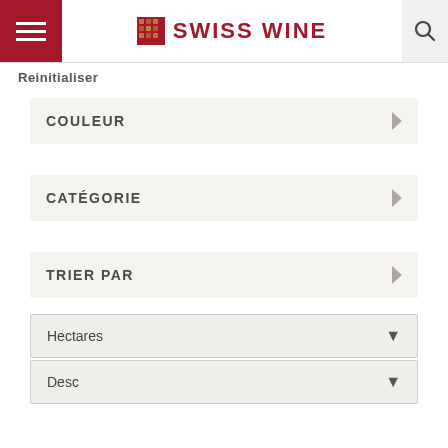SWISS WINE
Reinitialiser
COULEUR
CATÉGORIE
TRIER PAR
Hectares
Desc
Textes: (c) 2016 Dr José Vouillamoz
Source: FOAG 2018